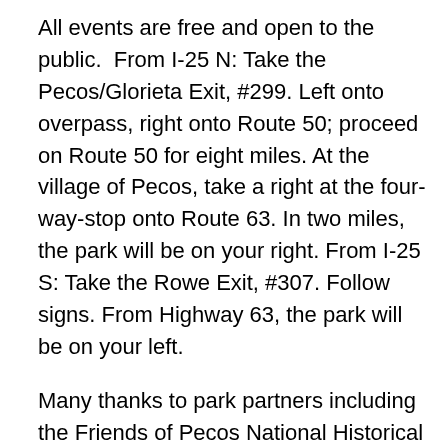All events are free and open to the public.  From I-25 N: Take the Pecos/Glorieta Exit, #299. Left onto overpass, right onto Route 50; proceed on Route 50 for eight miles. At the village of Pecos, take a right at the four-way-stop onto Route 63. In two miles, the park will be on your right. From I-25 S: Take the Rowe Exit, #307. Follow signs. From Highway 63, the park will be on your left.
Many thanks to park partners including the Friends of Pecos National Historical Park, Western National Parks Association, the Artillery Company of New Mexico, Volunteers from Living History Unit from Fort Union National Monument for their invaluable help with this event.
For more information about the park in general, contact Pecos NHP at (505) 757-7241 or visit our website